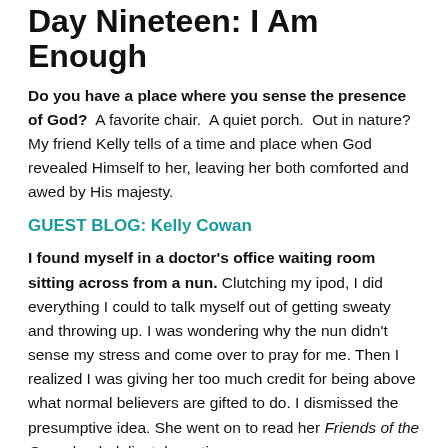Day Nineteen: I Am Enough
Do you have a place where you sense the presence of God?  A favorite chair.  A quiet porch.  Out in nature?  My friend Kelly tells of a time and place when God revealed Himself to her, leaving her both comforted and awed by His majesty.
GUEST BLOG: Kelly Cowan
I found myself in a doctor's office waiting room sitting across from a nun. Clutching my ipod, I did everything I could to talk myself out of getting sweaty and throwing up. I was wondering why the nun didn't sense my stress and come over to pray for me. Then I realized I was giving her too much credit for being above what normal believers are gifted to do. I dismissed the presumptive idea. She went on to read her Friends of the Cross book delicately resting